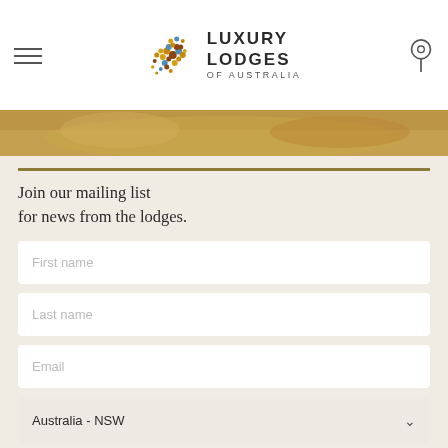[Figure (logo): Luxury Lodges of Australia logo with kangaroo made of colored dots and text LUXURY LODGES OF AUSTRALIA]
[Figure (photo): Hero image strip showing a golden/warm-toned landscape]
Join our mailing list for news from the lodges.
First name
Last name
Email
Australia - NSW
Consumer
Trade
Media
SUBSCRIBE